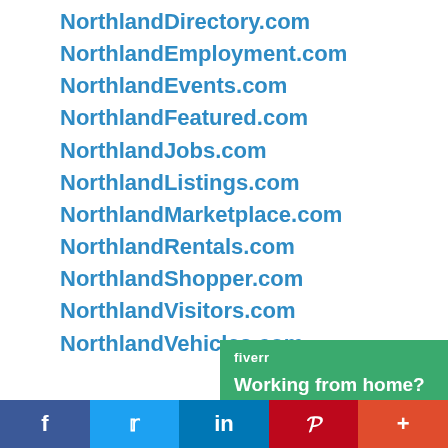NorthlandDirectory.com
NorthlandEmployment.com
NorthlandEvents.com
NorthlandFeatured.com
NorthlandJobs.com
NorthlandListings.com
NorthlandMarketplace.com
NorthlandRentals.com
NorthlandShopper.com
NorthlandVisitors.com
NorthlandVehicles.com
[Figure (infographic): Fiverr advertisement banner with green background. Text: 'fiverr' and 'Working from home? Get your projects done on fiverr']
f  [Twitter bird]  in  P  +